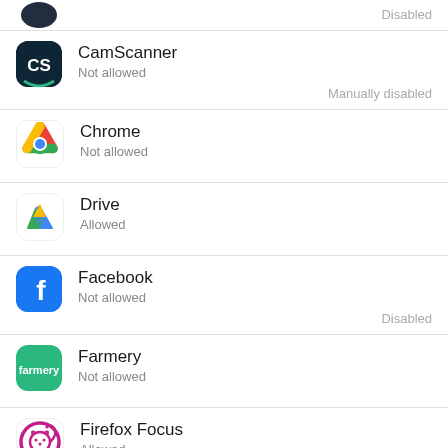(partial app) Disabled
CamScanner
Not allowed
Manually disabled
Chrome
Not allowed
Drive
Allowed
Facebook
Not allowed
Disabled
Farmery
Not allowed
Firefox Focus
Allowed